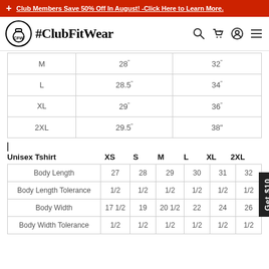Club Members Save 50% Off In August! -Click Here to Learn More.
[Figure (logo): ClubFitWear logo with kettlebell icon and #ClubFitWear text, plus navigation icons (search, cart, account, menu)]
|  |  |  |
| --- | --- | --- |
| M | 28" | 32" |
| L | 28.5" | 34" |
| XL | 29" | 36" |
| 2XL | 29.5" | 38" |
Unisex Tshirt   XS   S   M   L   XL   2XL
|  | XS | S | M | L | XL | 2XL |
| --- | --- | --- | --- | --- | --- | --- |
| Body Length | 27 | 28 | 29 | 30 | 31 | 32 |
| Body Length Tolerance | 1/2 | 1/2 | 1/2 | 1/2 | 1/2 | 1/2 |
| Body Width | 17 1/2 | 19 | 20 1/2 | 22 | 24 | 26 |
| Body Width Tolerance | 1/2 | 1/2 | 1/2 | 1/2 | 1/2 | 1/2 |